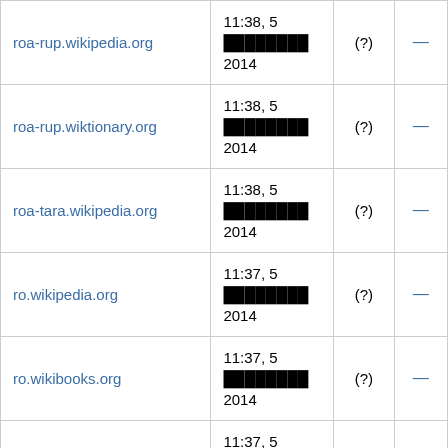| roa-rup.wikipedia.org | 11:38, 5 ████████ 2014 | (?) | — |
| roa-rup.wiktionary.org | 11:38, 5 ████████ 2014 | (?) | — |
| roa-tara.wikipedia.org | 11:38, 5 ████████ 2014 | (?) | — |
| ro.wikipedia.org | 11:37, 5 ████████ 2014 | (?) | — |
| ro.wikibooks.org | 11:37, 5 ████████ 2014 | (?) | — |
| ro.wikinews.org | 11:37, 5 ████████ 2014 | (?) | — |
| ro.wikiquote.org | 11:37, 5 ████████ 2014 | (?) | — |
| ro.wikisource.org | 12:15, 5 ... | (?) | — |